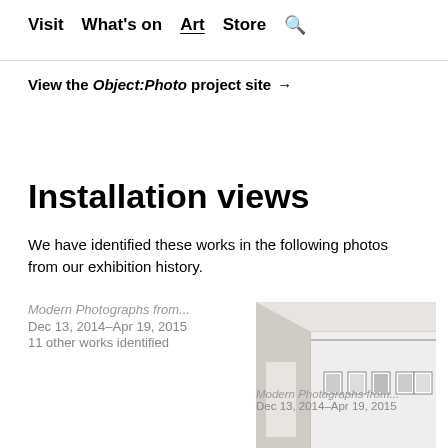Visit  What's on  Art  Store  🔍
View the Object:Photo project site →
Installation views
We have identified these works in the following photos from our exhibition history.
Modern Photographs from...
Dec 13, 2014–Apr 19, 2015
11 other works identified
[Figure (photo): Installation view of a gallery room showing framed photographs hung on white walls with wooden floor]
Modern Photographs from...
Dec 13, 2014–Apr 19, 2015